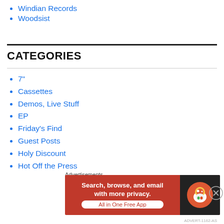Windian Records
Woodsist
CATEGORIES
7"
Cassettes
Demos, Live Stuff
EP
Friday's Find
Guest Posts
Holy Discount
Hot Off the Press
Interviews
Lists
LP
Monthly Roundup
Other
Reviews
Advertisements
[Figure (screenshot): DuckDuckGo ad banner: Search, browse, and email with more privacy. All in One Free App]